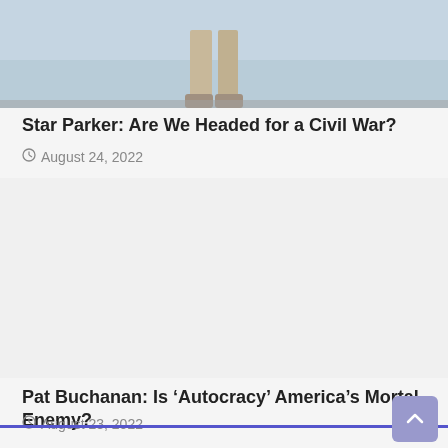[Figure (photo): Partial photo of a person standing, showing legs and feet, with a light blue/grey sky background. Bottom portion of a news article thumbnail image.]
Star Parker: Are We Headed for a Civil War?
August 24, 2022
[Figure (photo): Blank/white image placeholder for a news article thumbnail.]
Pat Buchanan: Is ‘Autocracy’ America’s Mortal Enemy?
August 23, 2022